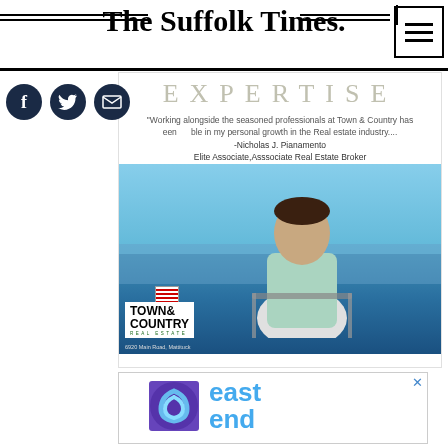The Suffolk Times.
[Figure (illustration): Social media icons: Facebook (f), Twitter bird, and email/envelope icons in dark navy circles]
[Figure (photo): Advertisement for Town & Country Real Estate featuring the word EXPERTISE at top, a quote from Nicholas J. Pianamento Elite Associate, Asssociate Real Estate Broker, and a photo of a man on a boat on the water with American flag visible. Town & Country Real Estate logo and address 6920 Main Road, Mattituck shown.]
[Figure (other): Advertisement for east end with blue swirl logo on purple background and 'east end' text in blue]